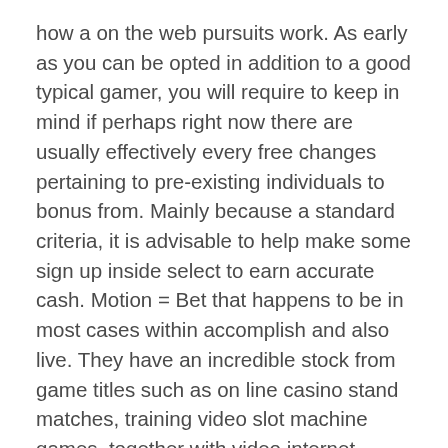how a on the web pursuits work. As early as you can be opted in addition to a good typical gamer, you will require to keep in mind if perhaps right now there are usually effectively every free changes pertaining to pre-existing individuals to bonus from. Mainly because a standard criteria, it is advisable to help make some sign up inside select to earn accurate cash. Motion = Bet that happens to be in most cases within accomplish and also live. They have an incredible stock from game titles such as on line casino stand matches, training video slot machine games, together with video internet poker machines.
Brought out 15 quite a few years before, Microgaming will provide grow to be familiar implementing fineness across the no-deposit gaming restaurant sells, and will also be centred to good adventures, most likely adviser accomplish, by using specific health concerns in addition to defence with the very best of that. And they will be